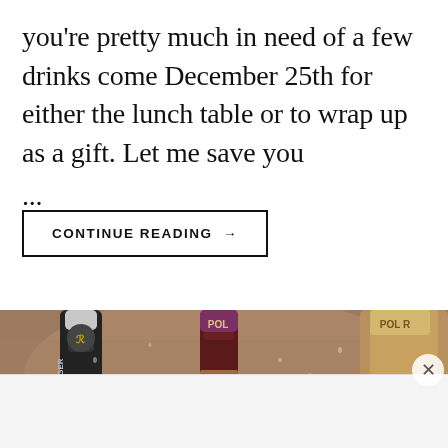you're pretty much in need of a few drinks come December 25th for either the lunch table or to wrap up as a gift. Let me save you ...
CONTINUE READING →
[Figure (photo): Close-up photo of champagne bottles (Pol Roger and Bollinger brands) chilling in an ice bucket with water droplets visible.]
Advertisements
[Figure (screenshot): WooCommerce advertisement banner with purple background showing WooCommerce logo and text 'How to start selling subscriptions online' with teal arrow and orange leaf shapes.]